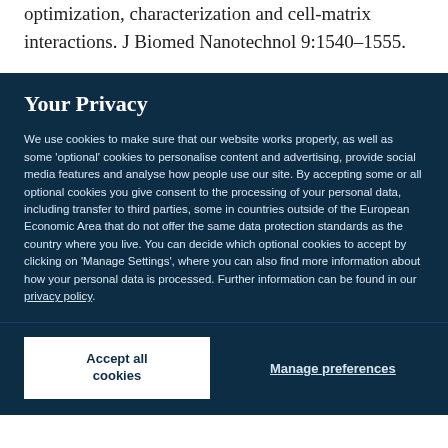optimization, characterization and cell-matrix interactions. J Biomed Nanotechnol 9:1540–1555.
Your Privacy
We use cookies to make sure that our website works properly, as well as some 'optional' cookies to personalise content and advertising, provide social media features and analyse how people use our site. By accepting some or all optional cookies you give consent to the processing of your personal data, including transfer to third parties, some in countries outside of the European Economic Area that do not offer the same data protection standards as the country where you live. You can decide which optional cookies to accept by clicking on 'Manage Settings', where you can also find more information about how your personal data is processed. Further information can be found in our privacy policy.
Accept all cookies
Manage preferences